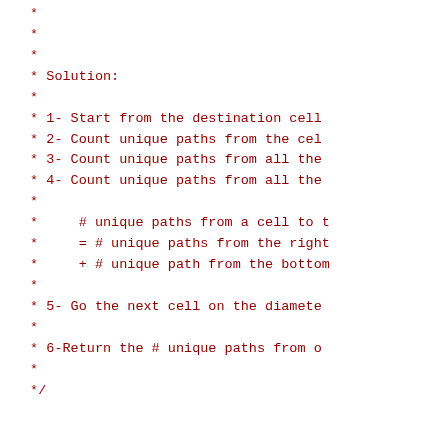*
 *
 *
 * Solution:
 *
 * 1- Start from the destination cell
 * 2- Count unique paths from the ce
 * 3- Count unique paths from all the
 * 4- Count unique paths from all the
 *
 *     # unique paths from a cell to t
 *     = # unique paths from the right
 *     + # unique path from the bottom
 *
 * 5- Go the next cell on the diamete
 *
 * 6-Return the # unique paths from o
 *
 */